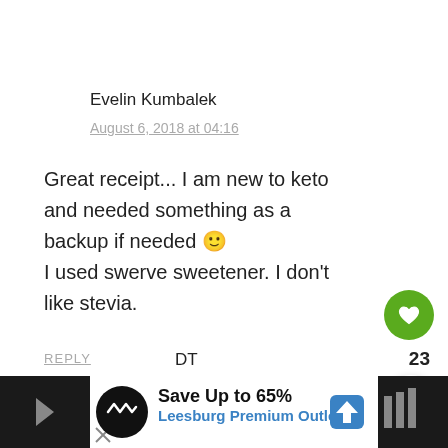Evelin Kumbalek
August 6, 2018 at 04:16
Great receipt... I am new to keto and needed something as a backup if needed 🙂 I used swerve sweetener. I don't like stevia.
REPLY
DT
[Figure (screenshot): Ad banner: Save Up to 65% Leesburg Premium Outlets with logo and map pin icon]